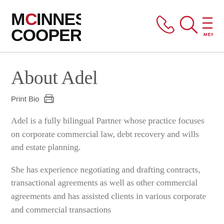[Figure (logo): McInnes Cooper law firm logo with stylized M-c-O in red circle]
[Figure (other): Navigation icons: phone, search magnifier, and hamburger menu with MENU label in red]
About Adel
Print Bio
Adel is a fully bilingual Partner whose practice focuses on corporate commercial law, debt recovery and wills and estate planning.
She has experience negotiating and drafting contracts, transactional agreements as well as other commercial agreements and has assisted clients in various corporate and commercial transactions